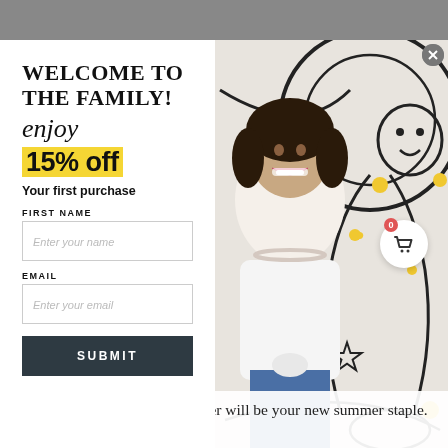[Figure (screenshot): Screenshot of a website popup modal over a photo of a smiling woman in a white t-shirt in front of a black and white illustrated mural with gold accents. The popup offers 15% off for new subscribers.]
WELCOME TO THE FAMILY!
enjoy
15% off
Your first purchase
FIRST NAME
Enter your name
EMAIL
Enter your email
SUBMIT
here to stay. This must have layer will be your new summer staple. Add these colorful chokers